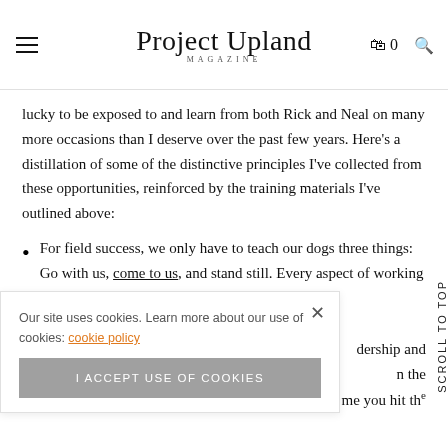Project Upland Magazine
lucky to be exposed to and learn from both Rick and Neal on many more occasions than I deserve over the past few years. Here's a distillation of some of the distinctive principles I've collected from these opportunities, reinforced by the training materials I've outlined above:
For field success, we only have to teach our dogs three things: Go with us, come to us, and stand still. Every aspect of working bird dog training can be traced back to ... dership and ... n the ... me you hit the
Our site uses cookies. Learn more about our use of cookies: cookie policy
I ACCEPT USE OF COOKIES